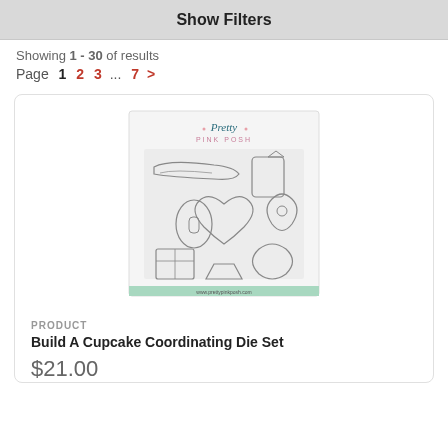Show Filters
Showing 1 - 30 of results
Page  1  2  3  ...  7  >
[Figure (photo): Product image of Build A Cupcake Coordinating Die Set from Pretty Pink Posh, showing die cut shapes including cupcake parts arranged on a white backing card with a mint green footer and the Pretty Pink Posh logo at top.]
PRODUCT
Build A Cupcake Coordinating Die Set
$21.00